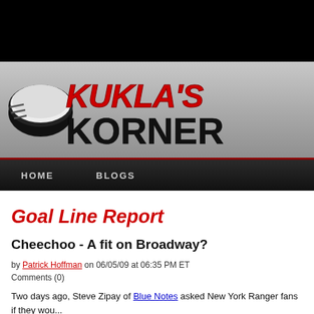[Figure (logo): Kukla's Korner logo with hockey puck graphic and red/black stylized text on silver gradient background]
HOME   BLOGS
Goal Line Report
Cheechoo - A fit on Broadway?
by Patrick Hoffman on 06/05/09 at 06:35 PM ET
Comments (0)
Two days ago, Steve Zipay of Blue Notes asked New York Ranger fans if they wou... Jonathan Cheechoo should he be made available: